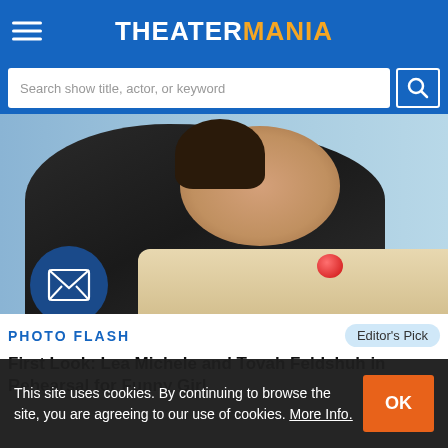THEATERMANIA
Search show title, actor, or keyword
[Figure (photo): Woman in black top leaning on a table with a tomato, smiling, with envelope/newsletter icon circle overlay at bottom left]
PHOTO FLASH
Editor's Pick
First Look: Lea Michele and Tovah Feldshuh in Rehearsal for Funny Girl
This site uses cookies. By continuing to browse the site, you are agreeing to our use of cookies. More Info.